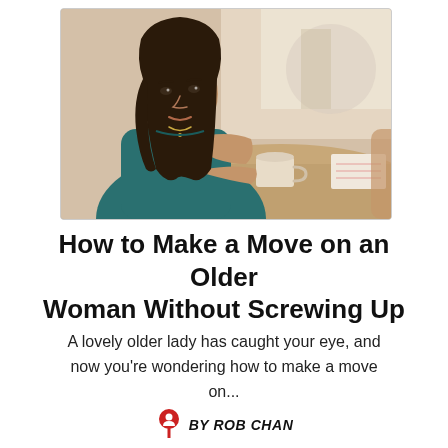[Figure (photo): A young woman with long dark hair sitting at a cafe table, wearing a teal top, holding a coffee cup and looking at the camera over her shoulder. Warm, bright background with blurred cafe setting.]
How to Make a Move on an Older Woman Without Screwing Up
A lovely older lady has caught your eye, and now you're wondering how to make a move on...
BY ROB CHAN